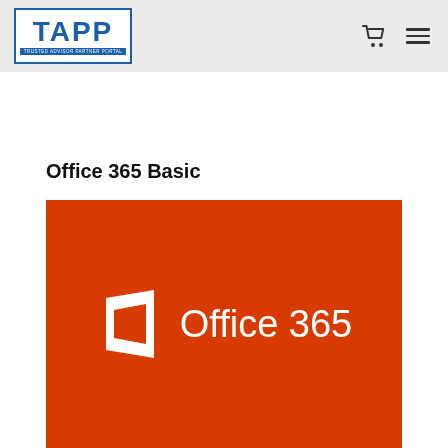[Figure (logo): TAPP (Trusted Advisor Partner Portal) logo - blue bordered box with white background containing bold blue TAPP text and subtitle]
Office 365 Basic
[Figure (illustration): Microsoft Office 365 product image on orange-red background with white Office door icon and 'Office 365' text in white]